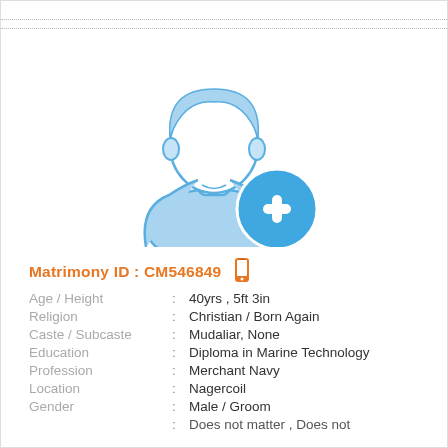[Figure (illustration): Generic male avatar placeholder icon with a blue plus/add button overlaid at bottom right. The figure shows a stylized man silhouette in light blue tones with blue outline.]
Matrimony ID : CM546849
| Age / Height | : | 40yrs , 5ft 3in |
| Religion | : | Christian / Born Again |
| Caste / Subcaste | : | Mudaliar, None |
| Education | : | Diploma in Marine Technology |
| Profession | : | Merchant Navy |
| Location | : | Nagercoil |
| Gender | : | Male / Groom |
|  | : | Does not matter , Does not |